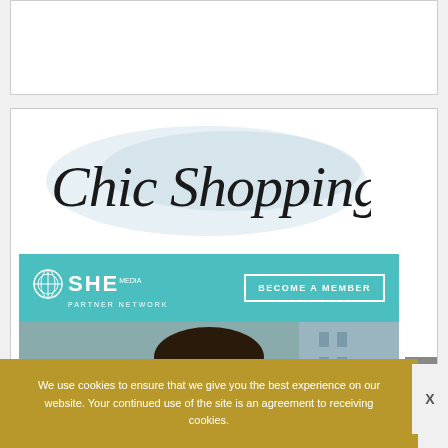[Figure (illustration): Empty white box with border at the top of the page]
[Figure (illustration): Chic Shopping script logo in cursive black text with light blue brushstroke background, above a teal SHE Media Partner Network banner with a BECOME A MEMBER button, and a partial photo of a person below]
We use cookies to ensure that we give you the best experience on our website. Your continued use of the site is an agreement to receiving cookies.